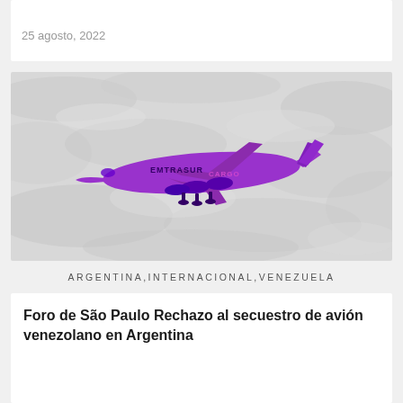25 agosto, 2022
[Figure (photo): Purple-colored cargo airplane labeled 'EMTRASUR CARGO' flying over a textured light grey background resembling a relief map or plastered surface.]
ARGENTINA,INTERNACIONAL,VENEZUELA
Foro de São Paulo Rechazo al secuestro de avión venezolano en Argentina